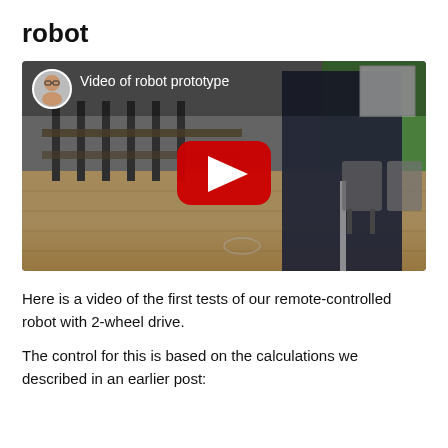robot
[Figure (screenshot): YouTube video thumbnail showing a person in a school gym/hall holding a robot, with tables and chairs stacked in background. A circular avatar of a man appears top-left with the text 'Video of robot prototype' and a red YouTube play button in the center.]
Here is a video of the first tests of our remote-controlled robot with 2-wheel drive.
The control for this is based on the calculations we described in an earlier post: